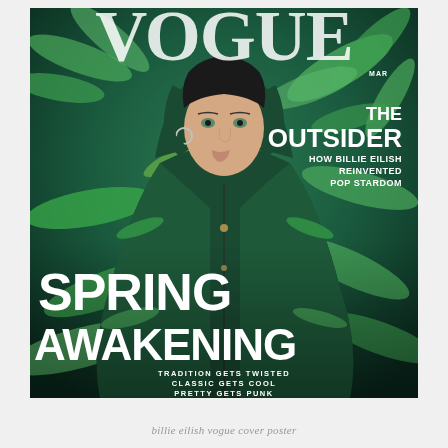[Figure (photo): Vogue magazine cover featuring Billie Eilish wearing a tropical print jacket with hood up, against a dark teal/green background. The cover shows the Vogue masthead at the top, with cover lines including 'THE OUTSIDER HOW BILLIE EILISH REINVENTED POP STARDOM' on the upper right, and 'SPRING AWAKENING' in large white text in the lower portion, with taglines 'TRADITION GETS TWISTED / CLASSIC GETS COOL / PRETTY GETS PUNK' at the bottom. Issue month: MAR.]
billie eilish vogue cover poster